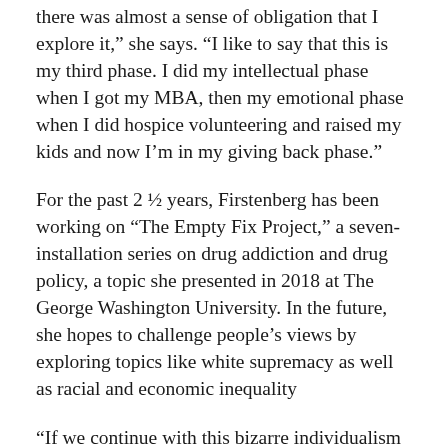there was almost a sense of obligation that I explore it,” she says. “I like to say that this is my third phase. I did my intellectual phase when I got my MBA, then my emotional phase when I did hospice volunteering and raised my kids and now I’m in my giving back phase.”
For the past 2 ½ years, Firstenberg has been working on “The Empty Fix Project,” a seven-installation series on drug addiction and drug policy, a topic she presented in 2018 at The George Washington University. In the future, she hopes to challenge people’s views by exploring topics like white supremacy as well as racial and economic inequality
“If we continue with this bizarre individualism idea, how will we deal with the next pandemic or climate change? These are the biggest things on our horizon and we have to confront them in a